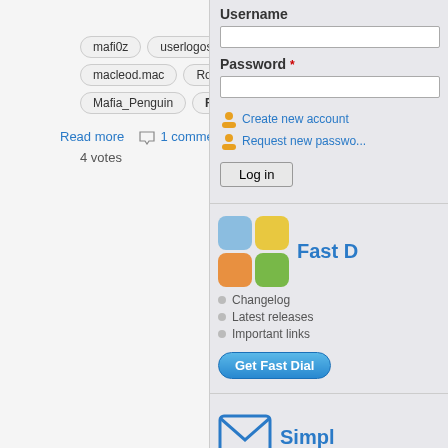Software Related   Other
mafi0z   userlogos
macleod.mac   Rog   Sjdvda
Mafia_Penguin   Requestbusters
Read more  1 comment  Log in or register to post comments or vote.  0
4 votes
[Figure (other): Decorative divider ornament]
[Figure (other): RSS feed orange icon]
Username
Password *
Create new account
Request new password
Log in
[Figure (other): Fast Dial app icon grid with blue, yellow, orange, green squares]
Fast D
Changelog
Latest releases
Important links
Get Fast Dial
[Figure (other): Email envelope icon in blue]
Simpl